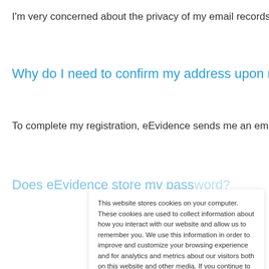I'm very concerned about the privacy of my email records? Can an
Why do I need to confirm my address upon registration?
To complete my registration, eEvidence sends me an email with a
Does eEvidence store my password?
This website stores cookies on your computer. These cookies are used to collect information about how you interact with our website and allow us to remember you. We use this information in order to improve and customize your browsing experience and for analytics and metrics about our visitors both on this website and other media. If you continue to navigate through this website, cookies will be stored in your computer. To find out more about the cookies we use, see our Privacy Policy.
If you decline, your information won't be tracked when you visit this website. A single cookie will be used in your browser to remember your preference not to be tracked.